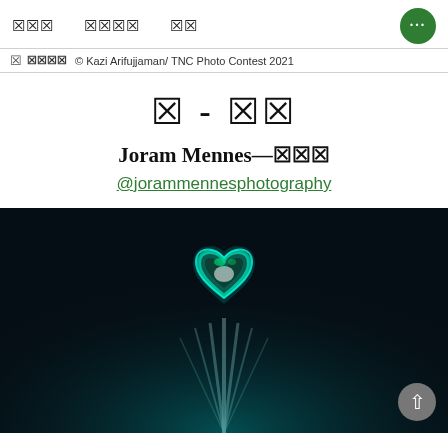Navigation icons and menu button
© Kazi Arifujjaman/ TNC Photo Contest 2021
█ - ██
Joram Mennes—███
@jorammennesphotography
[Figure (photo): Underwater photo showing a glowing teal/green heart-shaped rock formation with light rays streaming up from below against a dark background]